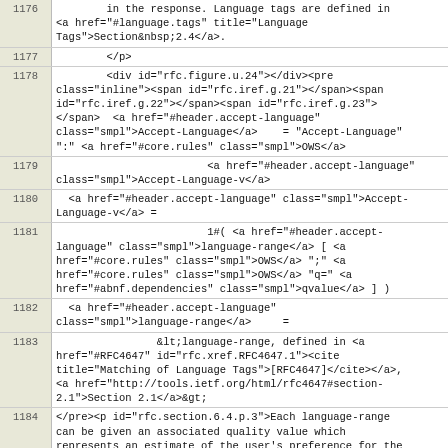1176: in the response. Language tags are defined in <a href="#language.tags" title="Language Tags">Section&nbsp;2.4</a>.
1177:         </p>
1178:         <div id="rfc.figure.u.24"></div><pre class="inline"><span id="rfc.iref.g.21"></span><span id="rfc.iref.g.22"></span><span id="rfc.iref.g.23"></span>  <a href="#header.accept-language" class="smpl">Accept-Language</a>    = "Accept-Language" ":" <a href="#core.rules" class="smpl">OWS</a>
1179:                         <a href="#header.accept-language" class="smpl">Accept-Language-v</a>
1180:   <a href="#header.accept-language" class="smpl">Accept-Language-v</a> =
1181:                         1#( <a href="#header.accept-language" class="smpl">language-range</a> [ <a href="#core.rules" class="smpl">OWS</a> ";" <a href="#core.rules" class="smpl">OWS</a> "q=" <a href="#abnf.dependencies" class="smpl">qvalue</a> ] )
1182:   <a href="#header.accept-language" class="smpl">language-range</a>     =
1183:                 &lt;language-range, defined in <a href="#RFC4647" id="rfc.xref.RFC4647.1"><cite title="Matching of Language Tags">[RFC4647]</cite></a>, <a href="http://tools.ietf.org/html/rfc4647#section-2.1">Section 2.1</a>&gt;
1184: </pre><p id="rfc.section.6.4.p.3">Each language-range can be given an associated quality value which represents an estimate of the user's preference for the
1185:         languages specified by that range. The quality value defaults to "q=1". For example,
1186:         </p>
1187:         <div id="rfc.figure.u.25"></div><pre class="text">  Accept-Language: da, en-gb;q=0.8, en;q=0.7
1188: </pre><p id="rfc.section.6.4.p.5">would mean: "I prefer